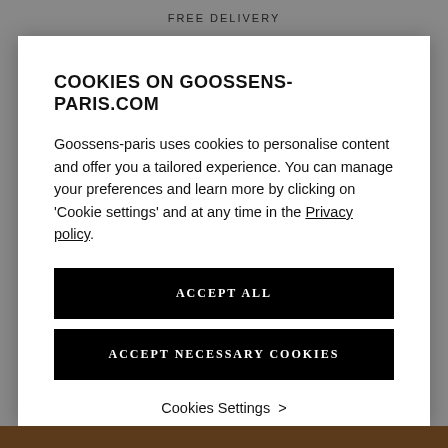FREE DELIVERY
COOKIES ON GOOSSENS-PARIS.COM
Goossens-paris uses cookies to personalise content and offer you a tailored experience. You can manage your preferences and learn more by clicking on 'Cookie settings' and at any time in the Privacy policy.
ACCEPT ALL
ACCEPT NECESSARY COOKIES
Cookies Settings >